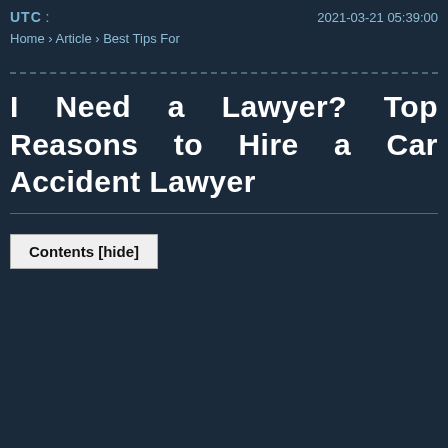UTC : 2021-03-21 05:39:00
Home › Article › Best Tips For
I Need a Lawyer? Top Reasons to Hire a Car Accident Lawyer
Contents [hide]